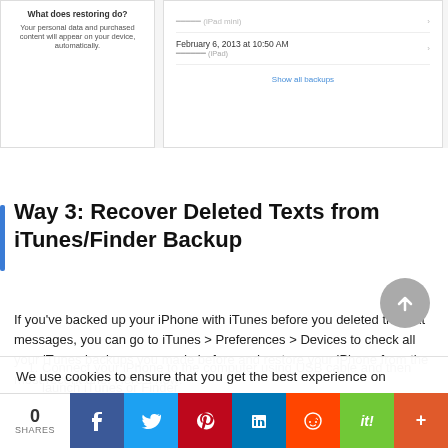[Figure (screenshot): Screenshot showing iCloud/iTunes backup panels: left panel with 'What does restoring do?' text, right panel showing a backup dated February 6, 2013 at 10:50 AM and a 'Show all backups' link]
Way 3: Recover Deleted Texts from iTunes/Finder Backup
If you've backed up your iPhone with iTunes before you deleted the text messages, you can go to iTunes > Preferences > Devices to check all your iTunes backups you made before and restore your iPhone from the most recent one. Here's how:
1. Connect your iPhone to the computer using USB cable and then launch iTunes or Finder.
We use cookies to ensure that you get the best experience on
0 SHARES | Facebook | Twitter | Pinterest | LinkedIn | Reddit | it! | More